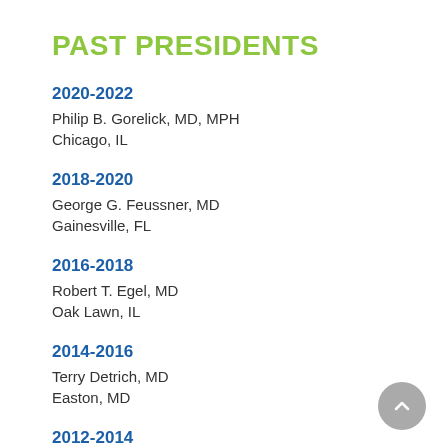PAST PRESIDENTS
2020-2022
Philip B. Gorelick, MD, MPH
Chicago, IL
2018-2020
George G. Feussner, MD
Gainesville, FL
2016-2018
Robert T. Egel, MD
Oak Lawn, IL
2014-2016
Terry Detrich, MD
Easton, MD
2012-2014
Howard Kirshner, MD